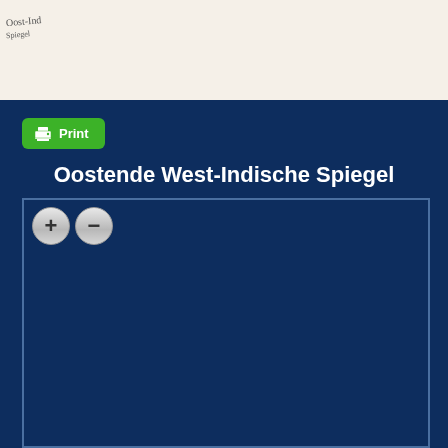[Figure (logo): Small decorative logo or handwritten text image in top-left corner of cream/beige header bar]
[Figure (screenshot): Web viewer interface showing a Print button (green), title 'Oostende West-Indische Spiegel', zoom in/out buttons, and a dark blue document viewer area with no visible document content loaded]